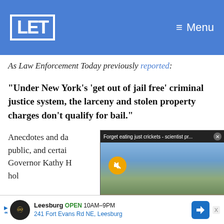LET — Menu
As Law Enforcement Today previously reported:
“Under New York’s ‘get out of jail free’ criminal justice system, the larceny and stolen property charges don’t qualify for bail.”
Anecdotes and da... public, and certai... Governor Kathy H... hol...
[Figure (screenshot): Floating video popup with title 'Forget eating just crickets - scientist pr...' and close button, showing landscape with wind turbines, mute button, and caption 'FORGET EATING JUST CRICKETS - SCIENTIST PROPOSES RECYCLING WIND TURBINE BLADES INTO GUMMY BEARS']
[Figure (other): Advertisement banner: Leesburg OPEN 10AM-9PM, 241 Fort Evans Rd NE, Leesburg]